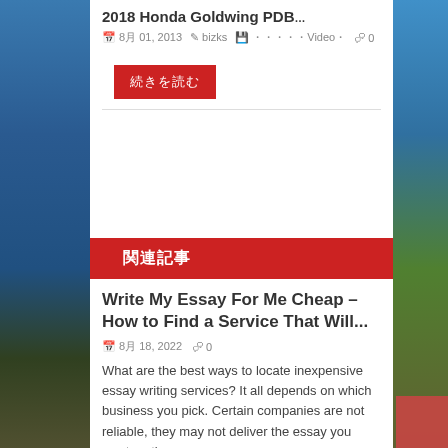2018 Honda Goldwing PDB…
8月 01, 2013  bizks  ……Video…  0
続きを読む
関連記事
Write My Essay For Me Cheap – How to Find a Service That Will...
8月 18, 2022  0
What are the best ways to locate inexpensive essay writing services? It all depends on which business you pick. Certain companies are not reliable, they may not deliver the essay you want on time....
続きを読む